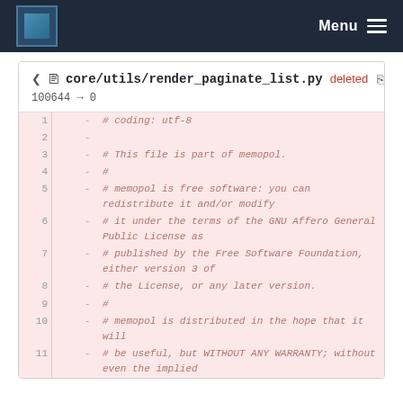Menu
core/utils/render_paginate_list.py deleted
100644 → 0
| line | old | new | code |
| --- | --- | --- | --- |
| 1 |  | - | # coding: utf-8 |
| 2 |  | - |  |
| 3 |  | - | # This file is part of memopol. |
| 4 |  | - | # |
| 5 |  | - | # memopol is free software: you can redistribute it and/or modify |
| 6 |  | - | # it under the terms of the GNU Affero General Public License as |
| 7 |  | - | # published by the Free Software Foundation, either version 3 of |
| 8 |  | - | # the License, or any later version. |
| 9 |  | - | # |
| 10 |  | - | # memopol is distributed in the hope that it will |
| 11 |  | - | # be useful, but WITHOUT ANY WARRANTY; without even the implied |